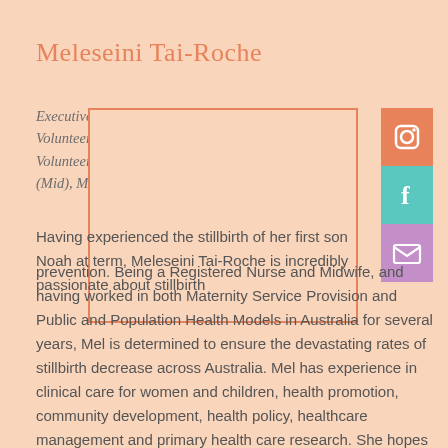Meleseini Tai-Roche
Executive Volunteer, Social Media Volunteer & NSW Representative Volunteer (R.N.RM B.Burs, M.Sci (Mid), MPH & TM)
[Figure (photo): Portrait photo placeholder box with orange border and social media icons (Instagram, Facebook, Email) on the right side]
Having experienced the stillbirth of her first son Noah at term, Meleseini Tai-Roche is incredibly passionate about stillbirth prevention. Being a Registered Nurse and Midwife, and having worked in both Maternity Service Provision and Public and Population Health Models in Australia for several years, Mel is determined to ensure the devastating rates of stillbirth decrease across Australia. Mel has experience in clinical care for women and children, health promotion, community development, health policy, healthcare management and primary health care research. She hopes to work with Still Aware, to ensure the organisations very